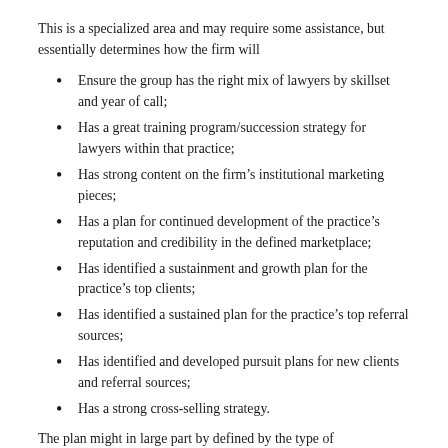This is a specialized area and may require some assistance, but essentially determines how the firm will
Ensure the group has the right mix of lawyers by skillset and year of call;
Has a great training program/succession strategy for lawyers within that practice;
Has strong content on the firm’s institutional marketing pieces;
Has a plan for continued development of the practice’s reputation and credibility in the defined marketplace;
Has identified a sustainment and growth plan for the practice’s top clients;
Has identified a sustained plan for the practice’s top referral sources;
Has identified and developed pursuit plans for new clients and referral sources;
Has a strong cross-selling strategy.
The plan might in large part by defined by the type of